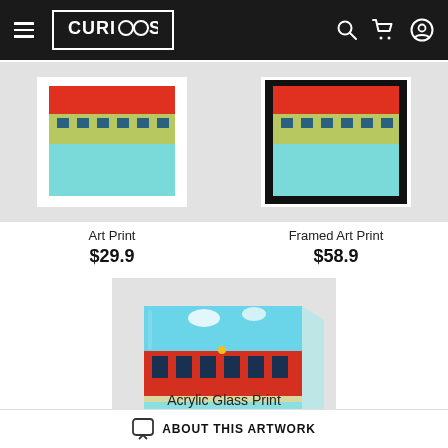CURIOOS
[Figure (photo): Art Print product thumbnail showing pool scene painting]
Art Print
$29.9
[Figure (photo): Framed Art Print product thumbnail showing pool scene painting in black frame]
Framed Art Print
$58.9
[Figure (photo): Acrylic Glass Print product thumbnail showing pool/motel scene painting on acrylic]
Acrylic Glass Print
$99
ABOUT THIS ARTWORK